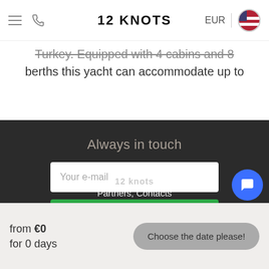12 KNOTS
Turkey. Equipped with 4 cabins and 8 berths this yacht can accommodate up to
Always in touch
Your e-mail
Subscribe
from €0
for 0 days
Choose the date please!
Partners, Contacts